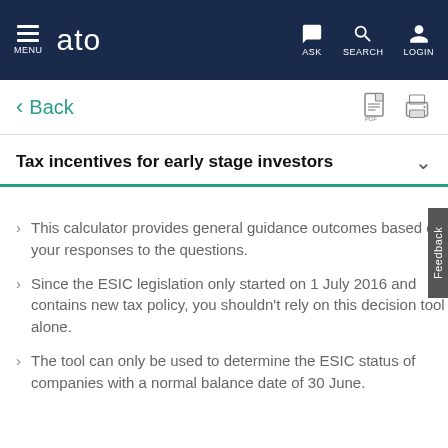MENU | ato | ASK | SEARCH | LOGIN
< Back
Tax incentives for early stage investors
This calculator provides general guidance outcomes based on your responses to the questions.
Since the ESIC legislation only started on 1 July 2016 and contains new tax policy, you shouldn't rely on this decision tool alone.
The tool can only be used to determine the ESIC status of companies with a normal balance date of 30 June.